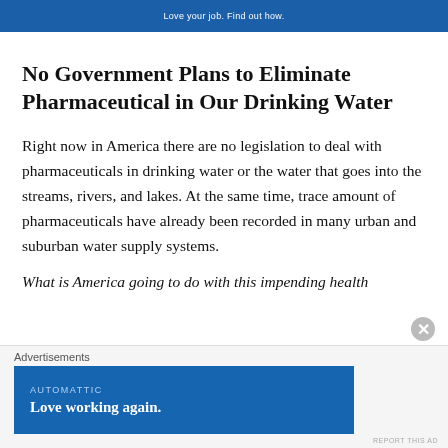[Figure (other): Blue advertisement banner at top of page]
No Government Plans to Eliminate Pharmaceutical in Our Drinking Water
Right now in America there are no legislation to deal with pharmaceuticals in drinking water or the water that goes into the streams, rivers, and lakes. At the same time, trace amount of pharmaceuticals have already been recorded in many urban and suburban water supply systems.
What is America going to do with this impending health
[Figure (other): Automattic advertisement banner: 'Love working again.']